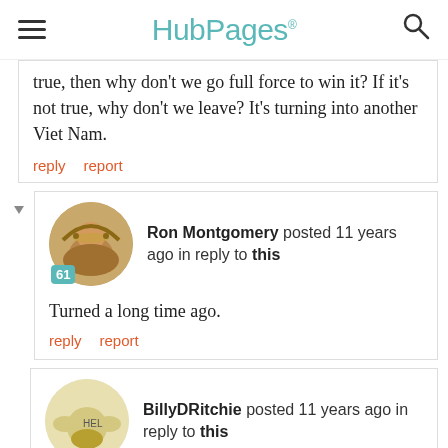HubPages
true, then why don't we go full force to win it? If it's not true, why don't we leave? It's turning into another Viet Nam.
reply   report
Ron Montgomery posted 11 years ago in reply to this
Turned a long time ago.
reply   report
BillyDRitchie posted 11 years ago in reply to this